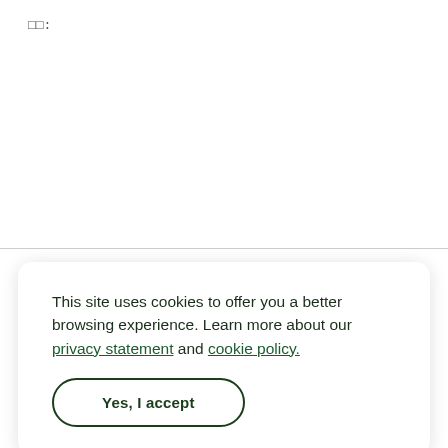:
: 02/10/2011
    : 11/19/2012
    : 5I9GF0GI
This site uses cookies to offer you a better browsing experience. Learn more about our privacy statement and cookie policy.
Yes, I accept